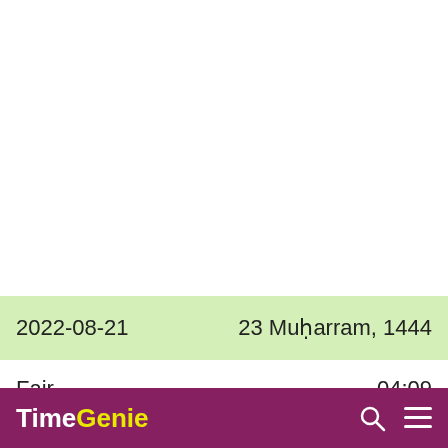2022-08-21   23 Muharram, 1444
Fajr   04:09
TimeGenie